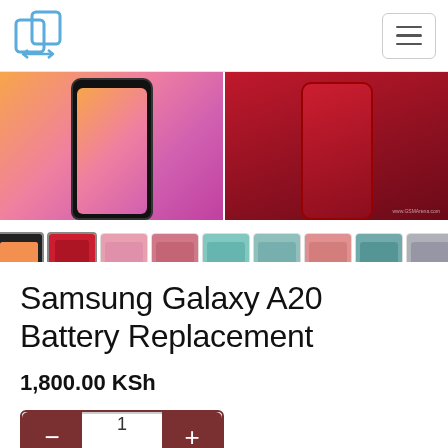[Figure (screenshot): Navigation bar with logo icon on left and hamburger menu on right]
[Figure (photo): Samsung Galaxy A20 product photos showing front screen with colorful gradient wallpaper on left, and red back panel on right]
[Figure (photo): Row of 8 thumbnail images showing Samsung Galaxy A20 in various colors and angles]
Samsung Galaxy A20 Battery Replacement
1,800.00 KSh
[Figure (screenshot): Quantity selector with minus button, quantity 1, and plus button]
[Figure (screenshot): Add to Cart button]